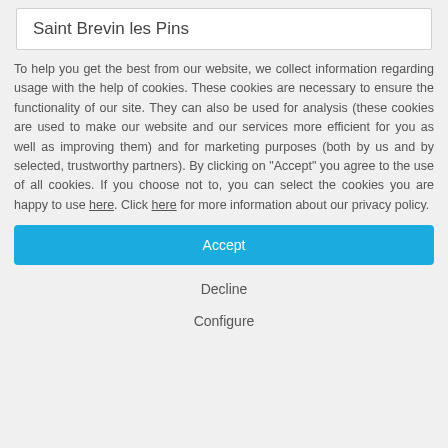Saint Brevin les Pins
To help you get the best from our website, we collect information regarding usage with the help of cookies. These cookies are necessary to ensure the functionality of our site. They can also be used for analysis (these cookies are used to make our website and our services more efficient for you as well as improving them) and for marketing purposes (both by us and by selected, trustworthy partners). By clicking on "Accept" you agree to the use of all cookies. If you choose not to, you can select the cookies you are happy to use here. Click here for more information about our privacy policy.
Accept
Decline
Configure